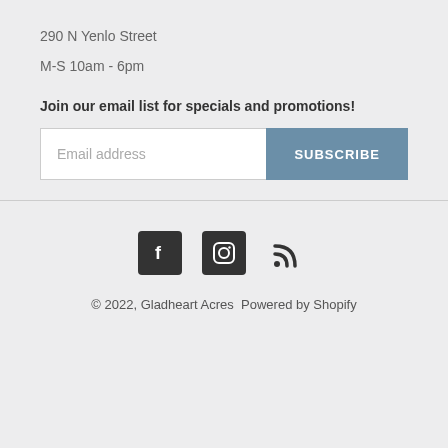290 N Yenlo Street
M-S 10am - 6pm
Join our email list for specials and promotions!
Email address
SUBSCRIBE
[Figure (infographic): Social media icons: Facebook, Instagram, RSS feed]
© 2022, Gladheart Acres  Powered by Shopify